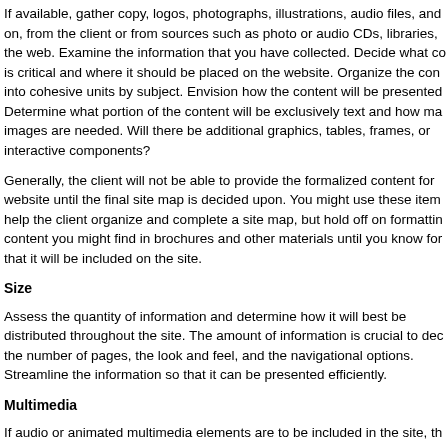If available, gather copy, logos, photographs, illustrations, audio files, and on, from the client or from sources such as photo or audio CDs, libraries, the web. Examine the information that you have collected. Decide what co is critical and where it should be placed on the website. Organize the con into cohesive units by subject. Envision how the content will be presented Determine what portion of the content will be exclusively text and how ma images are needed. Will there be additional graphics, tables, frames, or interactive components?
Generally, the client will not be able to provide the formalized content for website until the final site map is decided upon. You might use these item help the client organize and complete a site map, but hold off on formattin content you might find in brochures and other materials until you know for that it will be included on the site.
Size
Assess the quantity of information and determine how it will best be distributed throughout the site. The amount of information is crucial to dec the number of pages, the look and feel, and the navigational options. Streamline the information so that it can be presented efficiently.
Multimedia
If audio or animated multimedia elements are to be included in the site, th designer needs to decide where they will be placed and who will do the multimedia work. Some elements are available on CD, such as audio or v clips. Others will need to be created in software applications. These elem